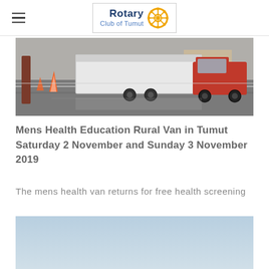Rotary Club of Tumut
[Figure (photo): A white trailer and a red pickup truck parked on a wet road with orange traffic cones visible on the left side.]
Mens Health Education Rural Van in Tumut Saturday 2 November and Sunday 3 November 2019
The mens health van returns for free health screening
[Figure (photo): Partial view of a light blue sky, beginning of a second photo.]